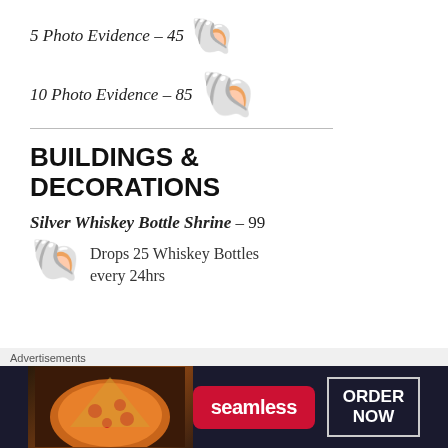5 Photo Evidence – 45 🐚
10 Photo Evidence – 85 🐚
BUILDINGS & DECORATIONS
Silver Whiskey Bottle Shrine – 99 🐚 Drops 25 Whiskey Bottles every 24hrs
[Figure (other): Seamless food delivery advertisement banner with pizza image, Seamless logo, and ORDER NOW button]